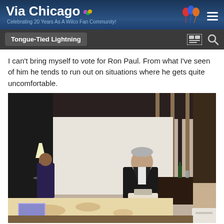Via Chicago — Celebrating 20 Years As A Wilco Fan Community!
Tongue-Tied Lightning
I can't bring myself to vote for Ron Paul. From what I've seen of him he tends to run out on situations where he gets quite uncomfortable.
[Figure (photo): A hotel room scene with a man in a dark suit bending over near the bed, and another person in the background near a lamp and striped curtains. A bed with a floral pattern coverlet is in the foreground.]